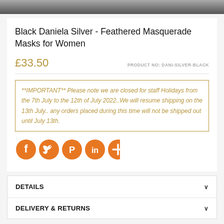[Figure (photo): Top strip showing partial photo of a feathered masquerade mask]
Black Daniela Silver - Feathered Masquerade Masks for Women
£33.50
PRODUCT NO: DANI-SILVER-BLACK
**IMPORTANT** Please note we are closed for staff Holidays from the 7th July to the 12th of July 2022..We will resume shipping on the 13th July.. any orders placed during this time will not be shipped out until July 13th.
[Figure (infographic): Row of orange circular social media icons: Facebook, Twitter, Pinterest, LinkedIn, More (plus)]
DETAILS
DELIVERY & RETURNS